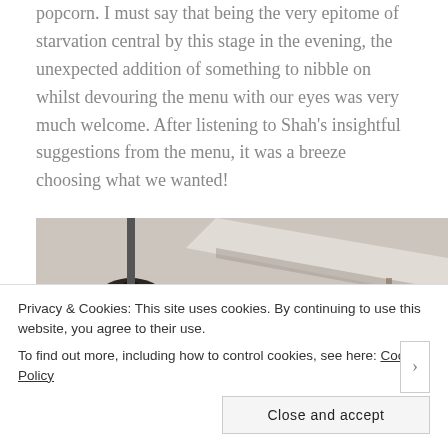snack action in the form of steak seasoned popcorn. I must say that being the very epitome of starvation central by this stage in the evening, the unexpected addition of something to nibble on whilst devouring the menu with our eyes was very much welcome. After listening to Shah's insightful suggestions from the menu, it was a breeze choosing what we wanted!
[Figure (photo): Interior restaurant photo showing ceiling with pendant lamp (dark metal) and ventilation duct, warm ambient lighting]
Privacy & Cookies: This site uses cookies. By continuing to use this website, you agree to their use.
To find out more, including how to control cookies, see here: Cookie Policy
Close and accept